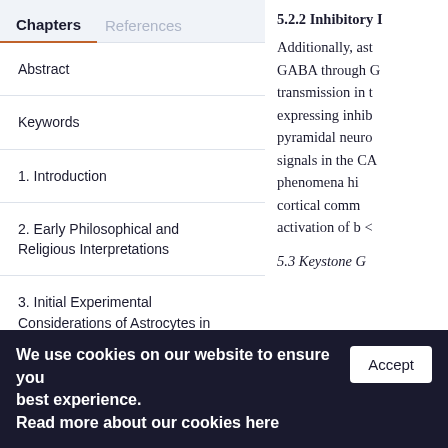Chapters
References
Abstract
Keywords
1. Introduction
2. Early Philosophical and Religious Interpretations
3. Initial Experimental Considerations of Astrocytes in Cognition
5.2.2 Inhibitory I... Additionally, ast... GABA through G... transmission in t... expressing inhib... pyramidal neuro... signals in the CA... phenomena hi... cortical comm... activation of b <
5.3 Keystone G...
We use cookies on our website to ensure you best experience. Read more about our cookies here